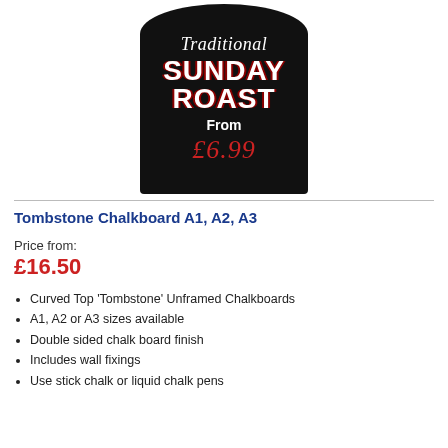[Figure (photo): Tombstone-shaped chalkboard sign with black background showing 'Traditional SUNDAY ROAST From £6.99' text in white and red chalk lettering]
Tombstone Chalkboard A1, A2, A3
Price from:
£16.50
Curved Top 'Tombstone' Unframed Chalkboards
A1, A2 or A3 sizes available
Double sided chalk board finish
Includes wall fixings
Use stick chalk or liquid chalk pens